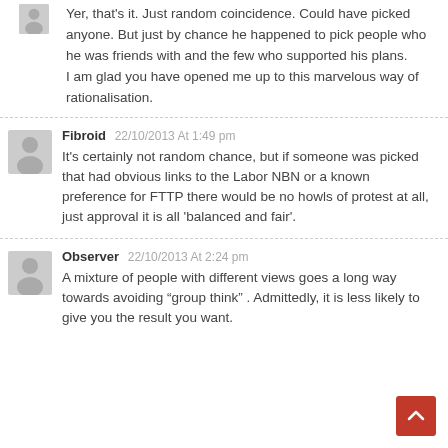Yer, that's it. Just random coincidence. Could have picked anyone. But just by chance he happened to pick people who he was friends with and the few who supported his plans. I am glad you have opened me up to this marvelous way of rationalisation.
Fibroid 22/10/2013 At 1:49 pm
It's certainly not random chance, but if someone was picked that had obvious links to the Labor NBN or a known preference for FTTP there would be no howls of protest at all, just approval it is all 'balanced and fair'.
Observer 22/10/2013 At 2:24 pm
A mixture of people with different views goes a long way towards avoiding "group think" . Admittedly, it is less likely to give you the result you want.